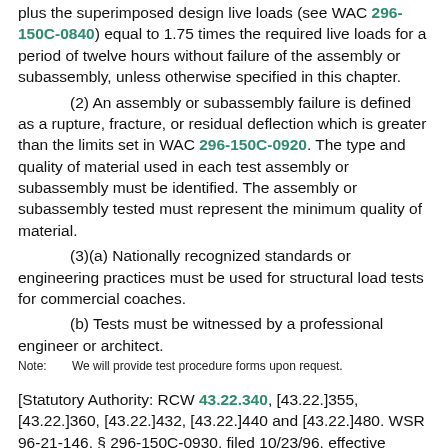plus the superimposed design live loads (see WAC 296-150C-0840) equal to 1.75 times the required live loads for a period of twelve hours without failure of the assembly or subassembly, unless otherwise specified in this chapter.
(2) An assembly or subassembly failure is defined as a rupture, fracture, or residual deflection which is greater than the limits set in WAC 296-150C-0920. The type and quality of material used in each test assembly or subassembly must be identified. The assembly or subassembly tested must represent the minimum quality of material.
(3)(a) Nationally recognized standards or engineering practices must be used for structural load tests for commercial coaches.
(b) Tests must be witnessed by a professional engineer or architect.
Note: We will provide test procedure forms upon request.
[Statutory Authority: RCW 43.22.340, [43.22.]355, [43.22.]360, [43.22.]432, [43.22.]440 and [43.22.]480. WSR 96-21-146, § 296-150C-0930, filed 10/23/96, effective 11/25/96.]